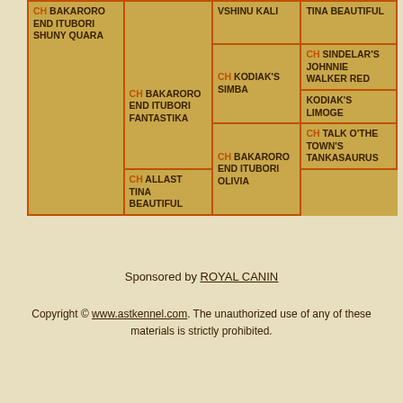| CH BAKARORO END ITUBORI SHUNY QUARA |  | VSHINU KALI | TINA BEAUTIFUL |
|  | CH BAKARORO END ITUBORI FANTASTIKA | CH KODIAK'S SIMBA | CH SINDELAR'S JOHNNIE WALKER RED |
|  |  |  | KODIAK'S LIMOGE |
|  |  | CH BAKARORO END ITUBORI OLIVIA | CH TALK O'THE TOWN'S TANKASAURUS |
|  |  |  | CH ALLAST TINA BEAUTIFUL |
Sponsored by ROYAL CANIN
Copyright © www.astkennel.com. The unauthorized use of any of these materials is strictly prohibited.